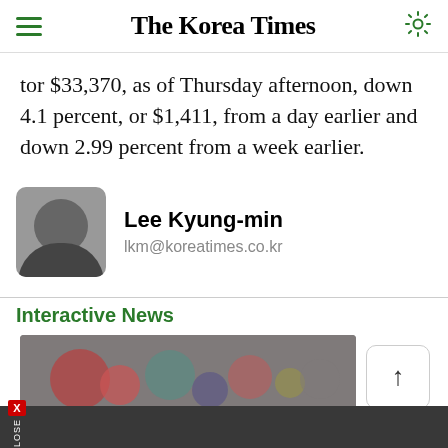The Korea Times
tor $33,370, as of Thursday afternoon, down 4.1 percent, or $1,411, from a day earlier and down 2.99 percent from a week earlier.
Lee Kyung-min
lkm@koreatimes.co.kr
Interactive News
[Figure (photo): News thumbnail image showing a crowd scene with blurred figures and colorful lights/clothing.]